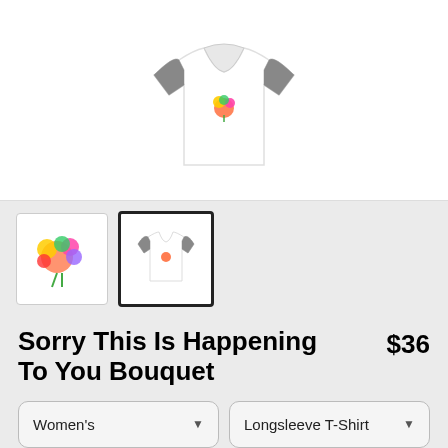[Figure (photo): Main product image of a white longsleeve baseball-style T-shirt with raglan grey sleeves and a small colorful bouquet graphic on the chest, shown on a white background]
[Figure (photo): Thumbnail 1: colorful flower bouquet artwork]
[Figure (photo): Thumbnail 2: white longsleeve T-shirt with raglan grey sleeves (selected, bold border)]
Sorry This Is Happening To You Bouquet
$36
Women's
Longsleeve T-Shirt
SELECT YOUR FIT
$36